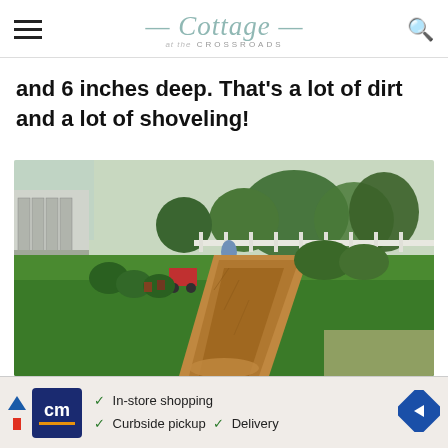Cottage at the Crossroads
and 6 inches deep. That's a lot of dirt and a lot of shoveling!
[Figure (photo): A freshly dug trench of dirt running through a green lawn toward a house with a screened porch, a person operating machinery visible in the background, with trees and white fencing in the distance.]
[Figure (screenshot): Advertisement banner: Cm logo (blue background with orange underline), checkmarks for In-store shopping, Curbside pickup, Delivery, with a blue diamond arrow on the right.]